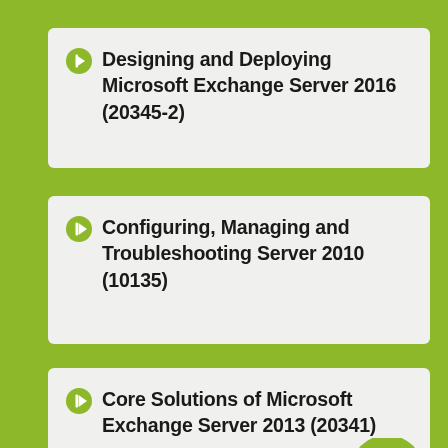Designing and Deploying Microsoft Exchange Server 2016 (20345-2)
Configuring, Managing and Troubleshooting Server 2010 (10135)
Core Solutions of Microsoft Exchange Server 2013 (20341)